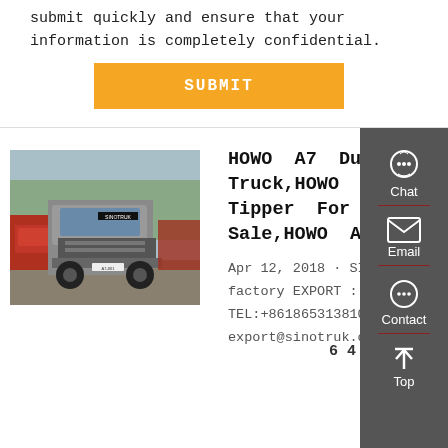submit quickly and ensure that your information is completely confidential.
[Figure (screenshot): Orange SUBMIT button]
[Figure (photo): HOWO A7 dump trucks parked in a lot]
HOWO A7 Dump Truck,HOWO A7 Tipper For Sale,HOWO A7 6 4
Apr 12, 2018 · SINOTRUK factory EXPORT : TEL:+8618653138109(whatsa export@sinotruk.cn.com
[Figure (screenshot): Right sidebar with Chat, Email, Contact, Top navigation icons on dark gray background]